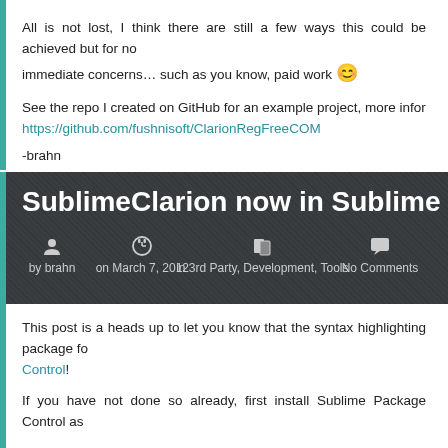All is not lost, I think there are still a few ways this could be achieved but for now I have more immediate concerns… such as you know, paid work 😊
See the repo I created on GitHub for an example project, more info https://github.com/fushnisoft/ClarionRegFreeCOM
-brahn
READ MORE __
SublimeClarion now in Sublime Pac…
by brahn  on March 7, 2012  in 3rd Party, Development, Tools  No Comments
This post is a heads up to let you know that the syntax highlighting package fo… Control!
If you have not done so already, first install Sublime Package Control as…